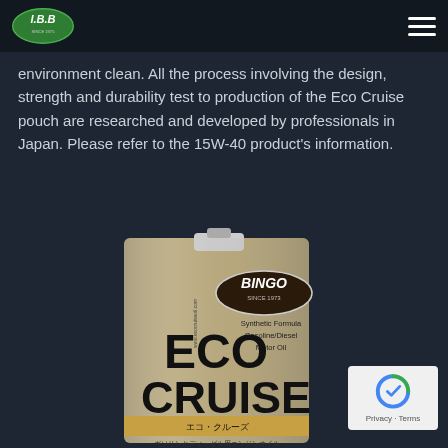I.B.B logo and navigation
environment clean. All the process involving the design, strength and durability test to production of the Eco Cruise pouch are researched and developed by professionals in Japan. Please refer to the 15W-40 product's information.
[Figure (photo): Bingo Eco Cruise motor oil can - metallic tin container with Japanese text エコ・クルーズ and BINGO SINCE 1973 branding, labeled Synthetic Formula Gasoline/Diesel Motor Oil]